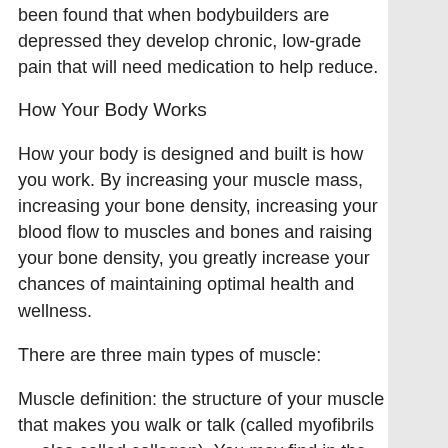been found that when bodybuilders are depressed they develop chronic, low-grade pain that will need medication to help reduce.
How Your Body Works
How your body is designed and built is how you work. By increasing your muscle mass, increasing your bone density, increasing your blood flow to muscles and bones and raising your bone density, you greatly increase your chances of maintaining optimal health and wellness.
There are three main types of muscle:
Muscle definition: the structure of your muscle that makes you walk or talk (called myofibrils — also called collagen). You may find in the medical literature, studies and